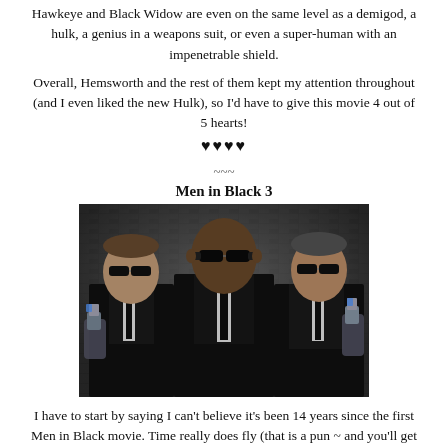Hawkeye and Black Widow are even on the same level as a demigod, a hulk, a genius in a weapons suit, or even a super-human with an impenetrable shield.
Overall, Hemsworth and the rest of them kept my attention throughout (and I even liked the new Hulk), so I'd have to give this movie 4 out of 5 hearts!
♥♥♥♥
~~~
Men in Black 3
[Figure (photo): Three men in black suits and sunglasses holding futuristic weapons, promotional photo for Men in Black 3]
I have to start by saying I can't believe it's been 14 years since the first Men in Black movie. Time really does fly (that is a pun ~ and you'll get it if you've seen the movie).
The concept for Men in Black 3 is that Agent J (Will Smith) has to go